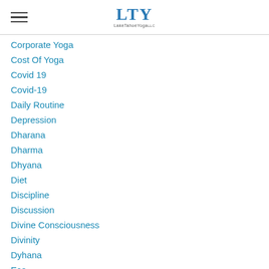LTY LakeTahoeYoga
Corporate Yoga
Cost Of Yoga
Covid 19
Covid-19
Daily Routine
Depression
Dharana
Dharma
Dhyana
Diet
Discipline
Discussion
Divine Consciousness
Divinity
Dyhana
Eco
Effective Fitness